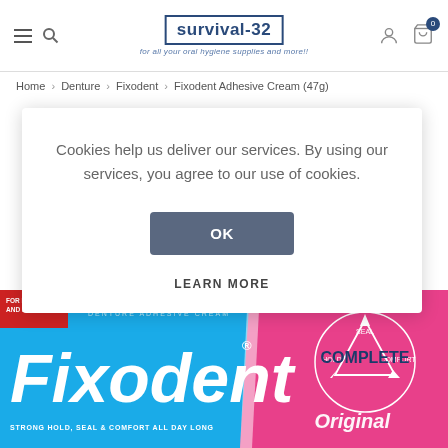survival-32 — for all your oral hygiene supplies and more!!
Home > Denture > Fixodent > Fixodent Adhesive Cream (47g)
Cookies help us deliver our services. By using our services, you agree to our use of cookies.
OK
LEARN MORE
[Figure (photo): Fixodent Complete Original Denture Adhesive Cream product box — blue and pink packaging with 'STRONG HOLD, SEAL & COMFORT ALL DAY LONG' tagline and 'FOR FULL AND PARTIALS' red label]